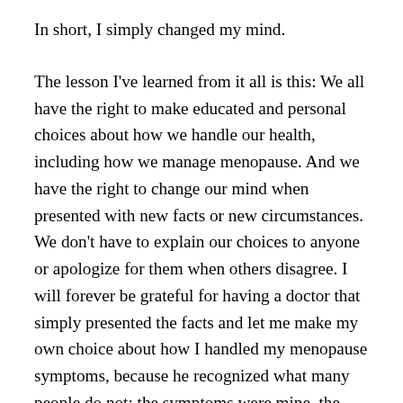In short, I simply changed my mind.
The lesson I've learned from it all is this: We all have the right to make educated and personal choices about how we handle our health, including how we manage menopause. And we have the right to change our mind when presented with new facts or new circumstances. We don't have to explain our choices to anyone or apologize for them when others disagree. I will forever be grateful for having a doctor that simply presented the facts and let me make my own choice about how I handled my menopause symptoms, because he recognized what many people do not: the symptoms were mine, the risks were mine, and ultimately, my body is mine and mine alone.